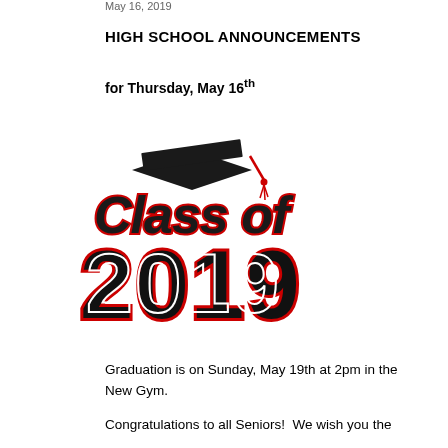May 16, 2019
HIGH SCHOOL ANNOUNCEMENTS
for Thursday, May 16th
[Figure (illustration): Class of 2019 graduation graphic with a mortarboard cap and stylized text reading 'Class of 2019' in bold black letters with red outline on white background.]
Graduation is on Sunday, May 19th at 2pm in the New Gym.
Congratulations to all Seniors!  We wish you the best of luck!